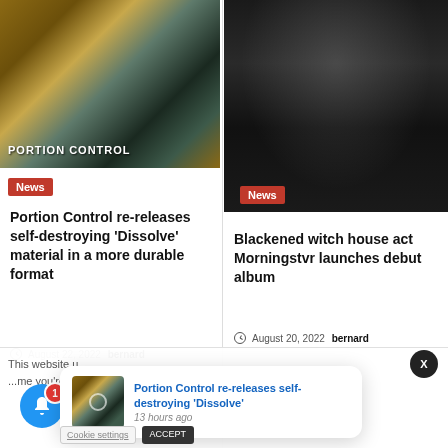[Figure (photo): Portion Control album art - rusty industrial design with cross shapes]
News
Portion Control re-releases self-destroying ‘Dissolve’ material in a more durable format
August 22, 2022  bernard
[Figure (photo): Black and white photo of a figure in dark robes, Morningstvr promotional image]
News
Blackened witch house act Morningstvr launches debut album
August 20, 2022  bernard
This website u... me you're
[Figure (photo): Small thumbnail of Portion Control album art]
Portion Control re-releases self-destroying 'Dissolve'
13 hours ago